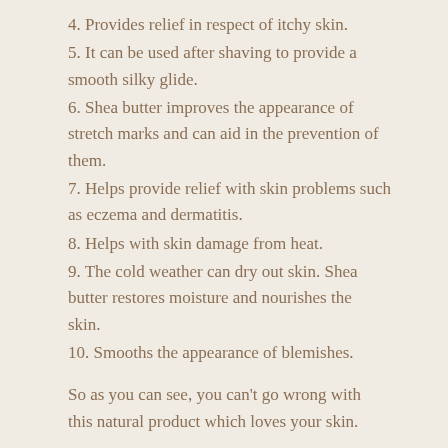4. Provides relief in respect of itchy skin.
5. It can be used after shaving to provide a smooth silky glide.
6. Shea butter improves the appearance of stretch marks and can aid in the prevention of them.
7. Helps provide relief with skin problems such as eczema and dermatitis.
8. Helps with skin damage from heat.
9. The cold weather can dry out skin. Shea butter restores moisture and nourishes the skin.
10. Smooths the appearance of blemishes.
So as you can see, you can't go wrong with this natural product which loves your skin.
Do you want soft, smooth and silky skin? If